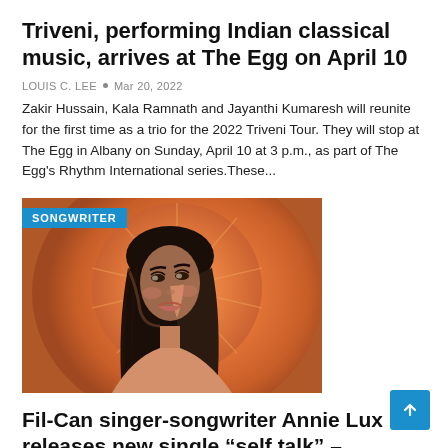Triveni, performing Indian classical music, arrives at The Egg on April 10
LOUIS C. LEE  •  Mar 20, 2022
Zakir Hussain, Kala Ramnath and Jayanthi Kumaresh will reunite for the first time as a trio for the 2022 Triveni Tour. They will stop at The Egg in Albany on Sunday, April 10 at 3 p.m., as part of The Egg's Rhythm International series.These...
[Figure (photo): A woman with long dark hair against an orange circular background, with a blue 'SONGWRITER' badge overlaid in the top-left corner.]
Fil-Can singer-songwriter Annie Lux releases new single “self talk” – Philippine...
LOUIS C. LEE  •  Mar 19, 2022
And for Annie, this move is a challenge for her to be a more “vulnera